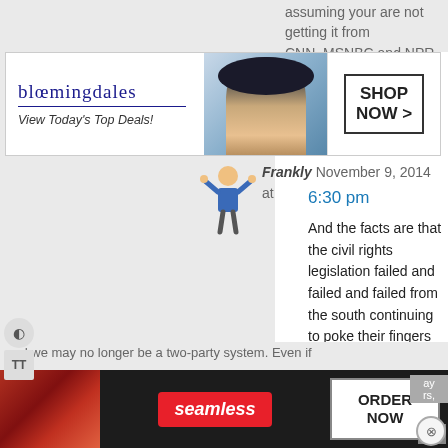assuming your are not getting it from CNN, MSNBC and NPR
[Figure (screenshot): Bloomingdale's banner advertisement: logo, 'View Today's Top Deals!', photo of woman in wide-brim hat, 'SHOP NOW >' button]
Frankly November 9, 2014 at 6:30 pm
[Figure (illustration): Avatar cartoon figure of a person with arms raised]
And the facts are that the civil rights legislation failed and failed and failed from the south continuing to poke their fingers in the southe[rn]... it done. M[...] very muc[h...]
Log in to [Reply]
[Figure (screenshot): Black video overlay rectangle partially obscuring comment text]
TrueBlueDevil November 9, 2014 at 9:28 pm
I think if our Parlimentary President hands [CLOSE] y to 5.
[Figure (screenshot): Seamless food delivery banner advertisement with pizza image, Seamless logo, and 'ORDER NOW' button]
and we may no longer be a two-party system. Even if